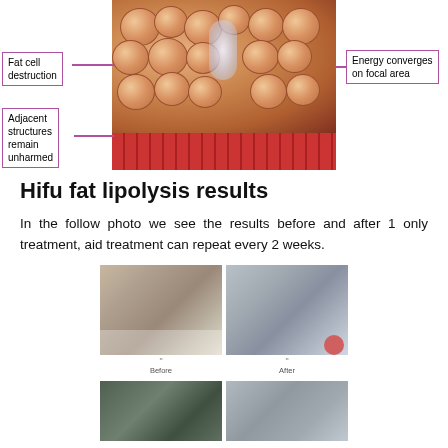[Figure (illustration): Medical illustration of fat cell destruction via HIFU energy, showing fat cells (bubbles) being destroyed at focal area while adjacent structures remain unharmed, with muscle tissue below. Labels point to 'Fat cell destruction', 'Adjacent structures remain unharmed', and 'Energy converges on focal area'.]
Hifu fat lipolysis results
In the follow photo we see the results before and after 1 only treatment, aid treatment can repeat every 2 weeks.
[Figure (photo): Before and after photos showing HIFU fat lipolysis results. Two photos side by side: 'Before' showing larger body area, 'After' showing reduced fat area. Two more photos partially visible at bottom.]